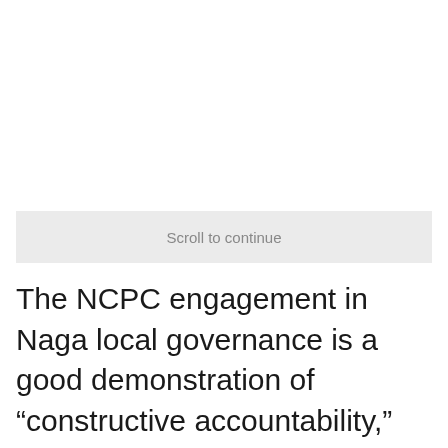Scroll to continue
The NCPC engagement in Naga local governance is a good demonstration of “constructive accountability,” where the accountability relationship between the government and civil society are anchored not primarily on how the engagement is done, but what the goals and intent of that engagement are. NCPC bridges state and society in